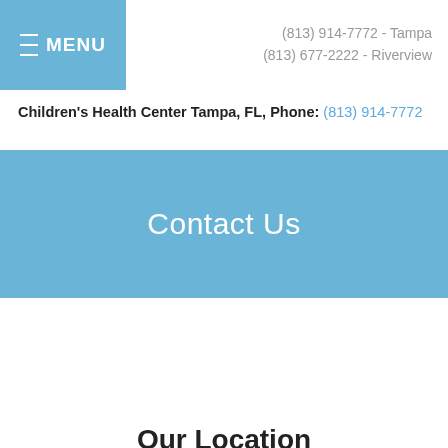≡ MENU   (813) 914-7772 - Tampa   (813) 677-2222 - Riverview
Children's Health Center Tampa, FL, Phone: (813) 914-7772
Contact Us
Our Location
Find us on the...